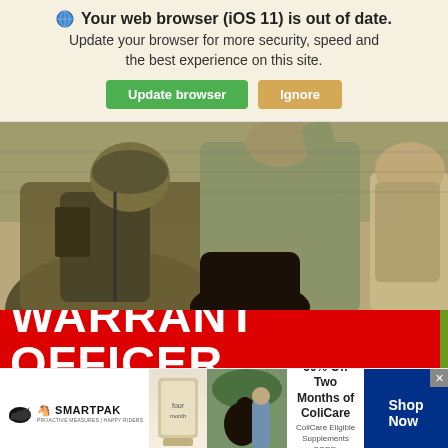Your web browser (iOS 11) is out of date. Update your browser for more security, speed and the best experience on this site.
Update browser | Ignore
[Figure (photo): Military personnel in camouflage uniforms with backpacks, viewed from behind, one person reaching upward]
WARRANT OFFICER
[Figure (infographic): SmartPak advertisement: 50% Off Two Months of ColiCare, ColiCare Eligible Supplements, CODE: COLICARE10, Shop Now button]